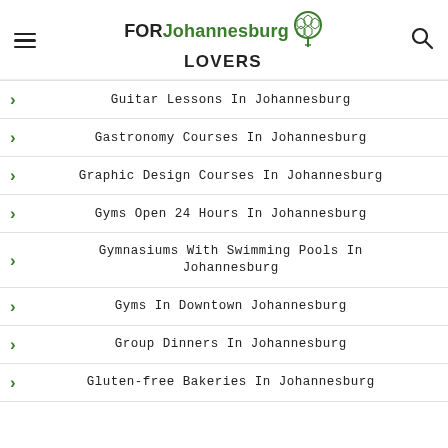FOR Johannesburg LOVERS
Guitar Lessons In Johannesburg
Gastronomy Courses In Johannesburg
Graphic Design Courses In Johannesburg
Gyms Open 24 Hours In Johannesburg
Gymnasiums With Swimming Pools In Johannesburg
Gyms In Downtown Johannesburg
Group Dinners In Johannesburg
Gluten-free Bakeries In Johannesburg